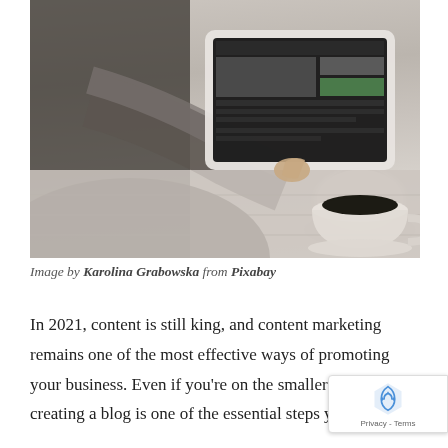[Figure (photo): Person with beard sitting at a wooden table using a tablet/iPad, with a cup of black coffee on the right. Shot from above/behind showing their hands and grey sweater.]
Image by Karolina Grabowska from Pixabay
In 2021, content is still king, and content marketing remains one of the most effective ways of promoting your business. Even if you're on the smaller side, creating a blog is one of the essential steps you shou